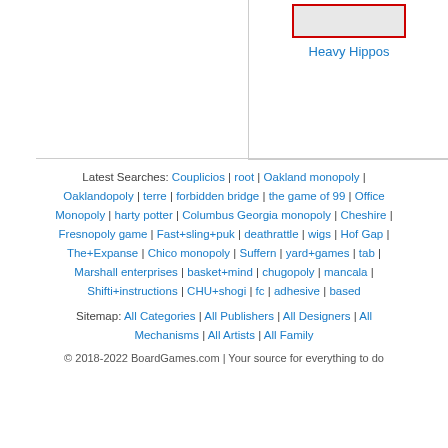[Figure (other): Board game card image box with red border, labeled 'Heavy Hippos' in blue text]
Latest Searches: Couplicios | root | Oakland monopoly | Oaklandopoly | terre | forbidden bridge | the game of 99 | Office Monopoly | harty potter | Columbus Georgia monopoly | Cheshire | Fresnopoly game | Fast+sling+puk | deathrattle | wigs | Hof Gap | The+Expanse | Chico monopoly | Suffern | yard+games | tab | Marshall enterprises | basket+mind | chugopoly | mancala | Shifti+instructions | CHU+shogi | fc | adhesive | based
Sitemap: All Categories | All Publishers | All Designers | All Mechanisms | All Artists | All Family
© 2018-2022 BoardGames.com | Your source for everything to do